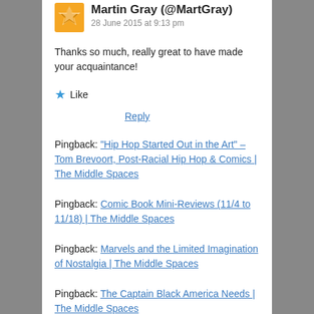Martin Gray (@MartGray)
28 June 2015 at 9:13 pm
Thanks so much, really great to have made your acquaintance!
★ Like
Reply
Pingback: “Hip Hop Started Out in the Art” – Tom Brevoort, Post-Racial Hip Hop & Comics | The Middle Spaces
Pingback: Comic Book Mini-Reviews (11/4 to 11/18) | The Middle Spaces
Pingback: Marvels and the Limited Imagination of Nostalgia | The Middle Spaces
Pingback: The Captain Black America Needs | The Middle Spaces